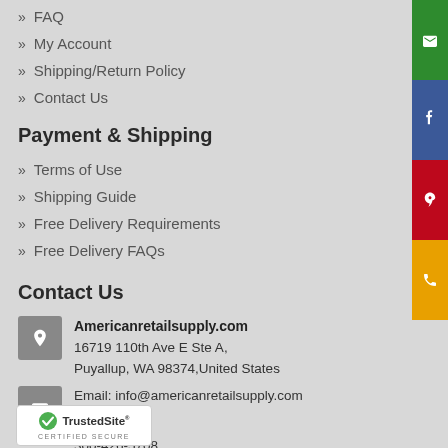» FAQ
» My Account
» Shipping/Return Policy
» Contact Us
Payment & Shipping
» Terms of Use
» Shipping Guide
» Free Delivery Requirements
» Free Delivery FAQs
Contact Us
Americanretailsupply.com
16719 110th Ave E Ste A,
Puyallup, WA 98374,United States
Email: info@americanretailsupply.com
300-426-5708
953-850-2247